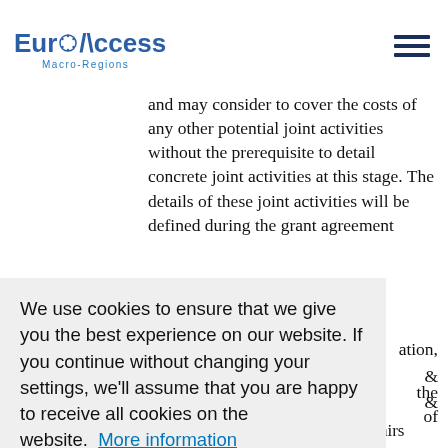EuroAccess Macro-Regions
and may consider to cover the costs of any other potential joint activities without the prerequisite to detail concrete joint activities at this stage. The details of these joint activities will be defined during the grant agreement
We use cookies to ensure that we give you the best experience on our website. If you continue without changing your settings, we'll assume that you are happy to receive all cookies on the website.  More information
Agree
ation, & & Exchange, Health, Social Affairs